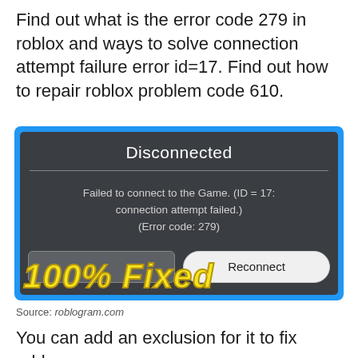Find out what is the error code 279 in roblox and ways to solve connection attempt failure error id=17. Find out how to repair roblox problem code 610.
[Figure (screenshot): Roblox disconnected error dialog with dark background showing 'Disconnected' title, error message 'Failed to connect to the Game. (ID = 17: connection attempt failed.) (Error code: 279)', with Leave/Reconnect buttons and a '100% Fixed' yellow text overlay on a blue background.]
Source: roblogram.com
You can add an exclusion for it to fix roblox error code 279 on windows 10...